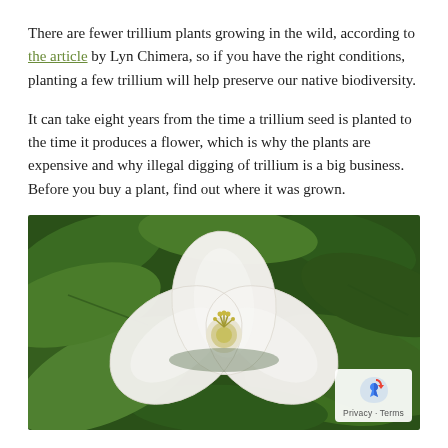There are fewer trillium plants growing in the wild, according to the article by Lyn Chimera, so if you have the right conditions, planting a few trillium will help preserve our native biodiversity.
It can take eight years from the time a trillium seed is planted to the time it produces a flower, which is why the plants are expensive and why illegal digging of trillium is a big business. Before you buy a plant, find out where it was grown.
[Figure (photo): Close-up photograph of a white trillium flower with three broad white petals and yellow-green stamens at the center, surrounded by large dark green leaves. A reCAPTCHA/Google privacy badge appears in the bottom-right corner.]